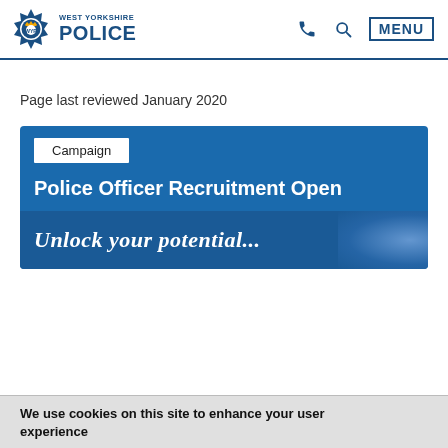West Yorkshire Police — MENU
Page last reviewed January 2020
[Figure (screenshot): West Yorkshire Police campaign banner showing 'Campaign' tag, 'Police Officer Recruitment Open' title, and 'Unlock your potential...' subtitle on a blue background]
We use cookies on this site to enhance your user experience